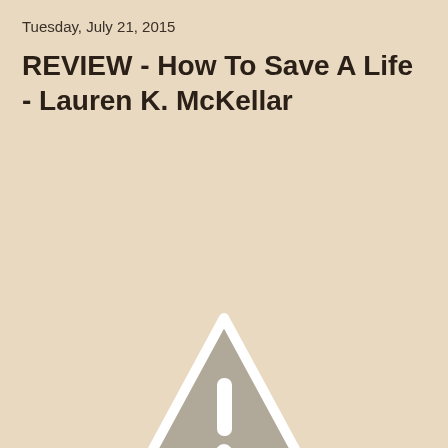Tuesday, July 21, 2015
REVIEW - How To Save A Life - Lauren K. McKellar
[Figure (other): A warning/caution triangle icon with an exclamation mark inside, rendered in grey tones on a beige background. The triangle has a white border outline and a grey fill with a white exclamation mark symbol in the center.]